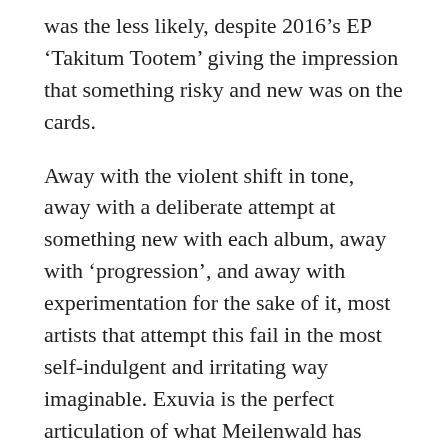was the less likely, despite 2016’s EP ‘Takitum Tootem’ giving the impression that something risky and new was on the cards.
Away with the violent shift in tone, away with a deliberate attempt at something new with each album, away with ‘progression’, and away with experimentation for the sake of it, most artists that attempt this fail in the most self-indulgent and irritating way imaginable. Exuvia is the perfect articulation of what Meilenwald has been trying to achieve on the previous two releases. The overall feel remains the same. The production is similar in its cavern spanning vastness. Many of the effects, synthesisers, and use of choral passages